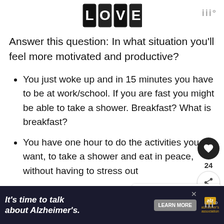[Figure (logo): Decorative LOVE logo with illustrated letter tiles at top center of page]
Answer this question: In what situation you'll feel more motivated and productive?
You just woke up and in 15 minutes you have to be at work/school. If you are fast you might be able to take a shower. Breakfast? What is breakfast?
You have one hour to do the activities you want, to take a shower and eat in peace, without having to stress out
[Figure (other): Like button (heart icon) with count 24 and share button]
[Figure (other): What's Next panel: How to Motivate a...]
[Figure (other): Footer advertisement: It's time to talk about Alzheimer's. Learn More button with Alzheimer's Association logo]